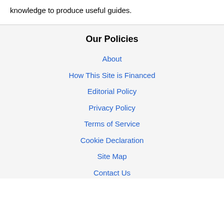knowledge to produce useful guides.
Our Policies
About
How This Site is Financed
Editorial Policy
Privacy Policy
Terms of Service
Cookie Declaration
Site Map
Contact Us